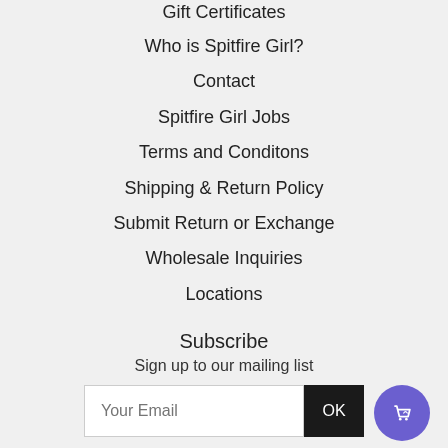Gift Certificates
Who is Spitfire Girl?
Contact
Spitfire Girl Jobs
Terms and Conditons
Shipping & Return Policy
Submit Return or Exchange
Wholesale Inquiries
Locations
Subscribe
Sign up to our mailing list
[Figure (other): Email subscription form with text input labeled 'Your Email', an OK button, and a purple circular shopping bag icon button]